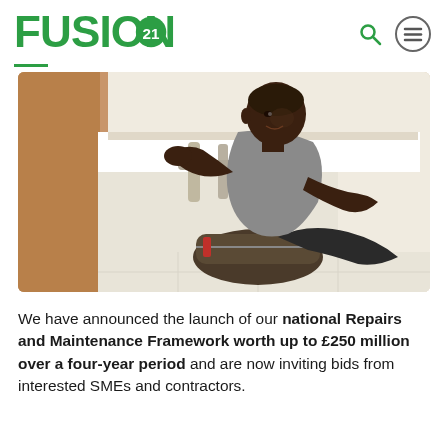[Figure (logo): Fusion21 logo in green with stylized '21' numeral inside the O]
[Figure (photo): A man working as a plumber or maintenance worker, crouching down fixing pipes under a kitchen or bathroom sink, with a tool bag beside him. Indoor setting with warm lighting.]
We have announced the launch of our national Repairs and Maintenance Framework worth up to £250 million over a four-year period and are now inviting bids from interested SMEs and contractors.